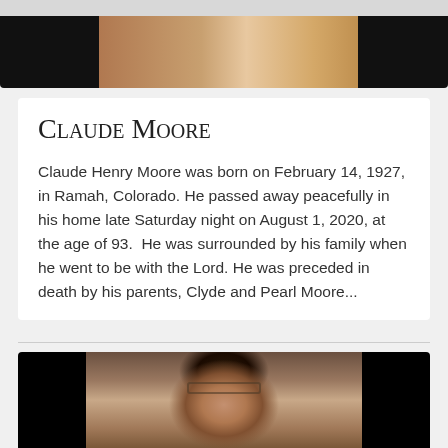[Figure (photo): Partial view of a photo at top of page, cropped, showing flowers or outdoor scene with dark sides]
Claude Moore
Claude Henry Moore was born on February 14, 1927, in Ramah, Colorado. He passed away peacefully in his home late Saturday night on August 1, 2020, at the age of 93.  He was surrounded by his family when he went to be with the Lord. He was preceded in death by his parents, Clyde and Pearl Moore...
[Figure (photo): Portrait photo of an elderly woman with dark hair and glasses, wearing a teal/turquoise top, with black side borders]